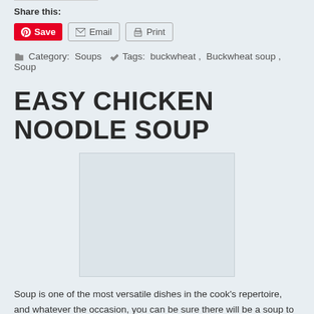Share this:
[Figure (other): Share buttons: Save (Pinterest), Email, Print]
Category: Soups   Tags: buckwheat, Buckwheat soup, Soup
EASY CHICKEN NOODLE SOUP
[Figure (photo): Placeholder image for Easy Chicken Noodle Soup recipe]
Soup is one of the most versatile dishes in the cook's repertoire, and whatever the occasion, you can be sure there will be a soup to fit the bill. The ingredients on which a soup can be based are equally